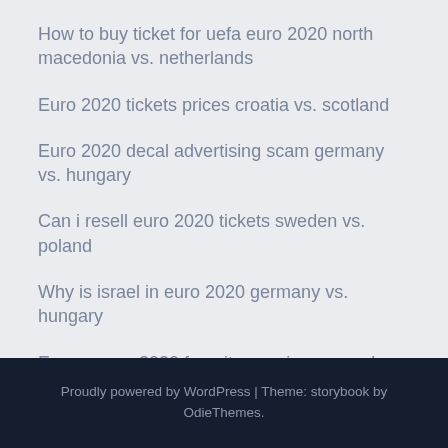How to buy ticket for uefa euro 2020 north macedonia vs. netherlands
Euro 2020 tickets prices croatia vs. scotland
Euro 2020 decal advertising scam germany vs. hungary
Can i resell euro 2020 tickets sweden vs. poland
Why is israel in euro 2020 germany vs. hungary
Euro soccer 2020 favorites spain vs. sweden
Proudly powered by WordPress | Theme: storybook by OdieThemes.